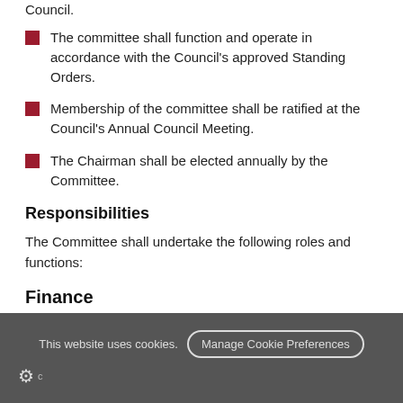Council.
The committee shall function and operate in accordance with the Council's approved Standing Orders.
Membership of the committee shall be ratified at the Council's Annual Council Meeting.
The Chairman shall be elected annually by the Committee.
Responsibilities
The Committee shall undertake the following roles and functions:
Finance
This website uses cookies. Manage Cookie Preferences